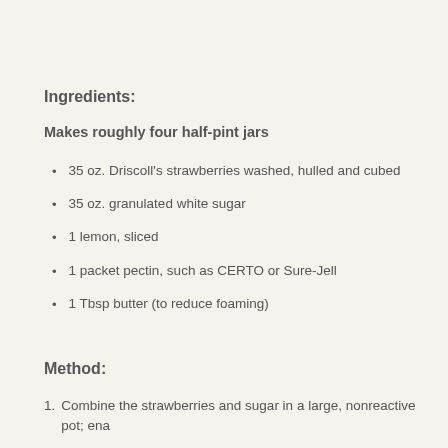Ingredients:
Makes roughly four half-pint jars
35 oz. Driscoll's strawberries washed, hulled and cubed
35 oz. granulated white sugar
1 lemon, sliced
1 packet pectin, such as CERTO or Sure-Jell
1 Tbsp butter (to reduce foaming)
Method:
Combine the strawberries and sugar in a large, nonreactive pot; ena...